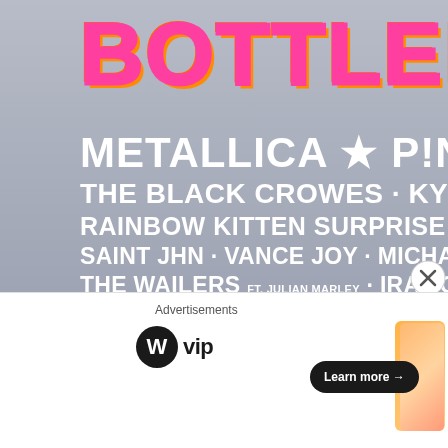[Figure (other): Music festival poster (partially cropped) showing 'BOTTLEROCK' title in pink and orange 3D letters on a purple-grey gradient background with flower decoration. Lineup text in white bold uppercase includes: METALLICA · P!NK · TWENTY ONE PILOTS / THE BLACK CROWES · KYGO · PITBULL · GRETA VAN FLEET · MO... / RAINBOW KITTEN SURPRISE · CHVRCHES · BLEACHERS · SPOON... / SAINt JHN · VANCE JOY · MICHAEL FRANTI & SPEARHEAD · ... / THE WAILERS FT. JULIAN MARLEY · IRATION · GREENSKY BLU... / AMOS LEE · YOLA · TAI VERDES · MISTERWIVES · MARCUS KING... / NOAH KAHAN · GRANDMASTER FLASH · MARC E. BASSY ... / DREW HOLCOMB & THE NEIGHBORS · SKIP MARLEY · KIKAGAKU M... / ALY & AJ · JUSTUS BENNETTS · WILD RIVERS · KINKY... / FOY VANCE · THE BROTHERS COMATOSE · JORDY...]
Advertisements
[Figure (logo): WordPress VIP logo: WordPress W circle icon next to 'vip' text in bold]
[Figure (other): Advertisement banner with orange/peach gradient and 'Learn more →' button in dark pill shape]